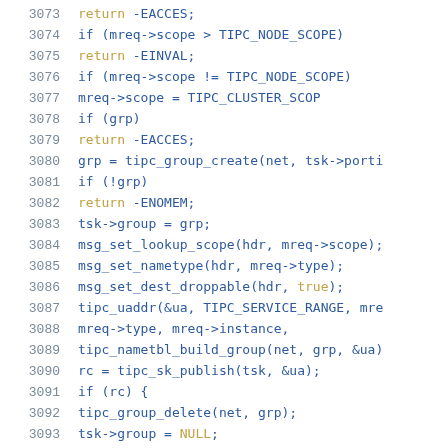[Figure (screenshot): Source code listing showing C code lines 3073-3094 with line numbers in gray and code in blue/gold monospace font]